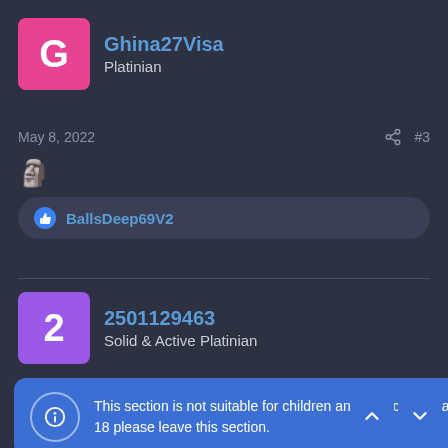Ghina27Visa — Platinian
May 8, 2022  #3
🗿
BallsDeep69V2
2501129463 — Solid & Active Platinian
#4
This section is not suitable for children and may contain adult content. If you are not over the age of 18 please leave this section.